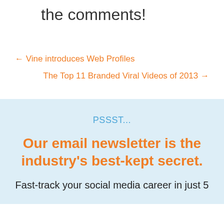the comments!
← Vine introduces Web Profiles
The Top 11 Branded Viral Videos of 2013 →
PSSST...
Our email newsletter is the industry's best-kept secret.
Fast-track your social media career in just 5